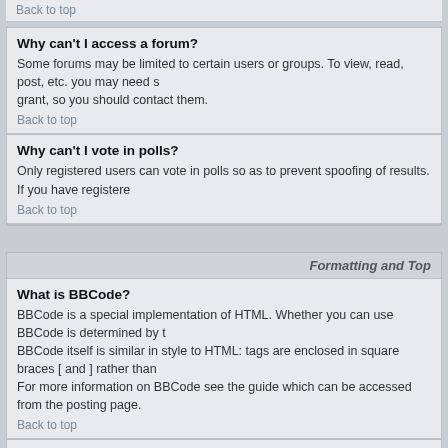Back to top
Why can't I access a forum?
Some forums may be limited to certain users or groups. To view, read, post, etc. you may need special authorization which only the forum moderator and board administrator can grant, so you should contact them.
Back to top
Why can't I vote in polls?
Only registered users can vote in polls so as to prevent spoofing of results. If you have registered and still cannot vote then you should check that you have not exceeded your voting quota.
Back to top
Formatting and Top
What is BBCode?
BBCode is a special implementation of HTML. Whether you can use BBCode is determined by the administrator. BBCode itself is similar in style to HTML: tags are enclosed in square braces [ and ] rather than < and >. For more information on BBCode see the guide which can be accessed from the posting page.
Back to top
Can I use HTML?
That depends on whether the administrator allows you to; they have complete control over it. If you are allowed to use HTML, you can also disable it on a per post basis from the posting form. BBCode itself is disabled globally by the administrator. It is also possible to disable it on a per post basis from the posting form.
Back to top
What are Smileys?